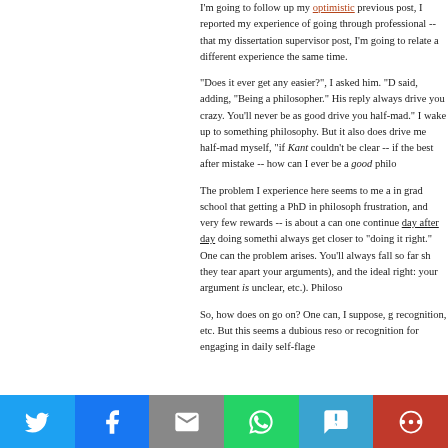I'm going to follow up my optimistic previous post, I reported my experience of going through professional -- that my dissertation supervisor post, I'm going to relate a different experience the same time.
"Does it ever get any easier?", I asked him. "D said, adding, "Being a philosopher." His reply always drive you crazy. You'll never be as good drive you half-mad." I wake up to something philosophy. But it also does drive me half-mad myself, "if Kant couldn't be clear -- if the best after mistake -- how can I ever be a good philosopher"
The problem I experience here seems to me a in grad school that getting a PhD in philosophy frustration, and very few rewards -- is about a can one continue day after day doing something always get closer to "doing it right." One can the problem arises. You'll always fall so far short they tear apart your arguments), and the ideal right: your argument is unclear, etc.). Philosophy
So, how does on go on? One can, I suppose, g recognition, etc. But this seems a dubious resource or recognition for engaging in daily self-flagellation
[Figure (infographic): Social media share bar with Twitter, Facebook, Email, WhatsApp, SMS, and More buttons]